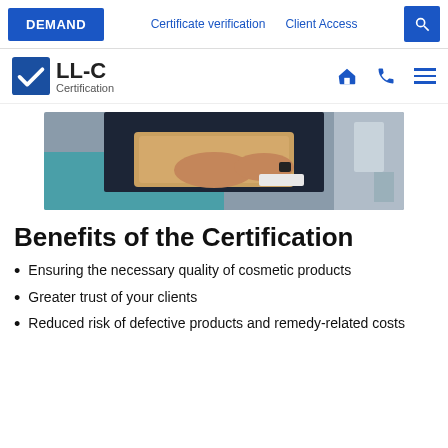DEMAND   Certificate verification   Client Access
[Figure (logo): LL-C Certification logo with blue checkmark]
[Figure (photo): Business person in suit holding a tablet, seated on teal chair]
Benefits of the Certification
Ensuring the necessary quality of cosmetic products
Greater trust of your clients
Reduced risk of defective products and remedy-related costs